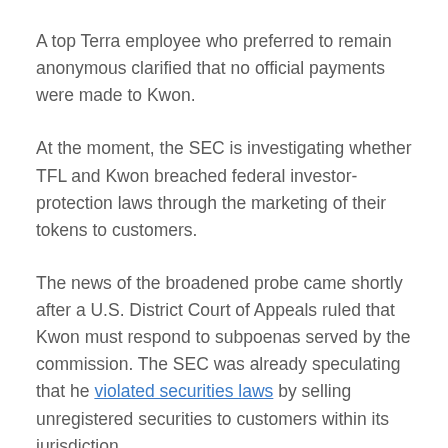A top Terra employee who preferred to remain anonymous clarified that no official payments were made to Kwon.
At the moment, the SEC is investigating whether TFL and Kwon breached federal investor-protection laws through the marketing of their tokens to customers.
The news of the broadened probe came shortly after a U.S. District Court of Appeals ruled that Kwon must respond to subpoenas served by the commission. The SEC was already speculating that he violated securities laws by selling unregistered securities to customers within its jurisdiction.
Crypto Community Reacts
Responding to these new developments in the Terra